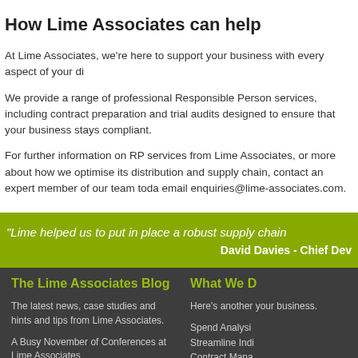How Lime Associates can help
At Lime Associates, we're here to support your business with every aspect of your di
We provide a range of professional Responsible Person services, including contract preparation and trial audits designed to ensure that your business stays compliant.
For further information on RP services from Lime Associates, or more about how we optimise its distribution and supply chain, contact an expert member of our team toda email enquiries@lime-associates.com.
"Lime helped us to put in place a robust supply chain David Davies - Chief Dev
The Lime Associates Blog
The latest news, case studies and hints and tips from Lime Associates.
A Busy November of Conferences at Lime Associates
The Role of a Responsible Person (RP)
Cost control – can your buyers really buy?
What We D
Here's another your business.
Spend Analysi
Streamline Indi
Contract Mana
Reduce Wha